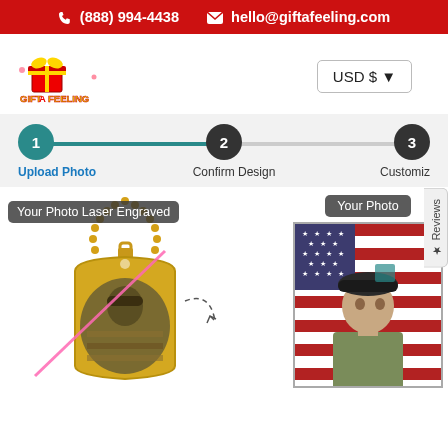(888) 994-4438   hello@giftafeeling.com
[Figure (logo): Gift A Feeling logo - colorful text logo with gift box]
USD $ ▾
★ Reviews
1 Upload Photo
2 Confirm Design
3 Customiz
[Figure (photo): Gold dog tag necklace with laser engraved photo of soldier with American flag, pink diagonal line overlay. Label reads 'Your Photo Laser Engraved']
[Figure (photo): Portrait photo of male soldier in military beret in front of American flag. Label reads 'Your Photo']